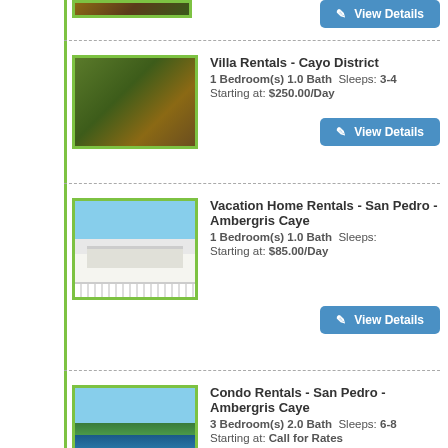[Figure (photo): Partial top image of a thatched/wooden structure]
[Figure (photo): Thatched roof jungle villa with wooden deck and tropical vegetation, Cayo District]
Villa Rentals - Cayo District
1 Bedroom(s) 1.0 Bath  Sleeps: 3-4
Starting at: $250.00/Day
[Figure (photo): White wooden vacation home with white picket fence, San Pedro - Ambergris Caye]
Vacation Home Rentals - San Pedro - Ambergris Caye
1 Bedroom(s) 1.0 Bath  Sleeps:
Starting at: $85.00/Day
[Figure (photo): Beachside condo view with turquoise water and palm trees, San Pedro - Ambergris Caye]
Condo Rentals - San Pedro - Ambergris Caye
3 Bedroom(s) 2.0 Bath  Sleeps: 6-8
Starting at: Call for Rates